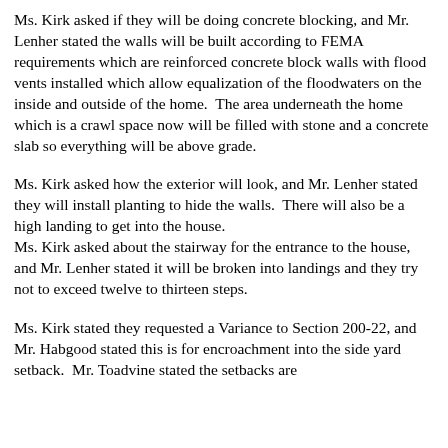Ms. Kirk asked if they will be doing concrete blocking, and Mr. Lenher stated the walls will be built according to FEMA requirements which are reinforced concrete block walls with flood vents installed which allow equalization of the floodwaters on the inside and outside of the home.  The area underneath the home which is a crawl space now will be filled with stone and a concrete slab so everything will be above grade.
Ms. Kirk asked how the exterior will look, and Mr. Lenher stated they will install planting to hide the walls.  There will also be a high landing to get into the house. Ms. Kirk asked about the stairway for the entrance to the house, and Mr. Lenher stated it will be broken into landings and they try not to exceed twelve to thirteen steps.
Ms. Kirk stated they requested a Variance to Section 200-22, and Mr. Habgood stated this is for encroachment into the side yard setback.  Mr. Toadvine stated the setbacks are